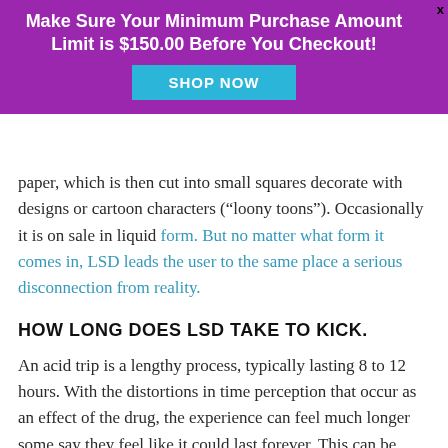[Figure (other): Purple advertisement banner with text 'Make Sure Your Minimum Purchase Amount Limit is $150.00 Before You Checkout!' and a 'SHOP NOW' button in teal/cyan color]
paper, which is then cut into small squares decorate with designs or cartoon characters (“loony toons”). Occasionally it is on sale in liquid form. But no matter what form it comes in, LSD leads the user to the same place a serious disconnection from reality.
HOW LONG DOES LSD TAKE TO KICK.
An acid trip is a lengthy process, typically lasting 8 to 12 hours. With the distortions in time perception that occur as an effect of the drug, the experience can feel much longer some say they feel like it could last forever. This can be highly enjoyable when the mood of the user and those